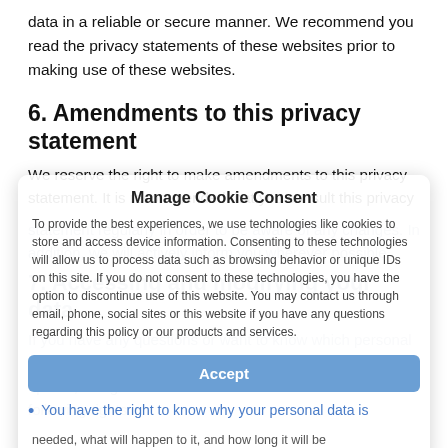data in a reliable or secure manner. We recommend you read the privacy statements of these websites prior to making use of these websites.
6. Amendments to this privacy statement
We reserve the right to make amendments to this privacy statement. It is recommended that you consult this privacy statement regularly in order to be aware of any changes. In addition, we will actively inform you wherever possible.
7. Accessing and modifying your data
If you have any questions or want to know which personal data we have about you, please contact us. You can or to opt out, using the information below. You have the following rights:
Manage Cookie Consent
To provide the best experiences, we use technologies like cookies to store and access device information. Consenting to these technologies will allow us to process data such as browsing behavior or unique IDs on this site. If you do not consent to these technologies, you have the option to discontinue use of this website. You may contact us through email, phone, social sites or this website if you have any questions regarding this policy or our products and services.
Accept
You have the right to know why your personal data is needed, what will happen to it, and how long it will be